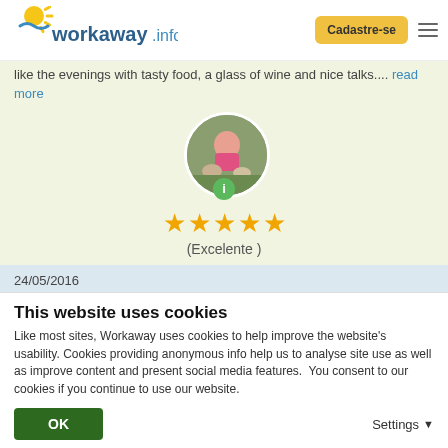workaway.info | Cadastre-se
like the evenings with tasty food, a glass of wine and nice talks.... read more
[Figure (photo): Circular profile photo of a person crouching with animals outdoors, with a green info badge below]
[Figure (other): Five gold stars rating]
(Excelente )
24/05/2016
Feito pelo anfitrião para o Workawayer (Janine)
Janine spend the whole March and April at our farm. She i
This website uses cookies
Like most sites, Workaway uses cookies to help improve the website's usability. Cookies providing anonymous info help us to analyse site use as well as improve content and present social media features.  You consent to our cookies if you continue to use our website.
OK
Settings